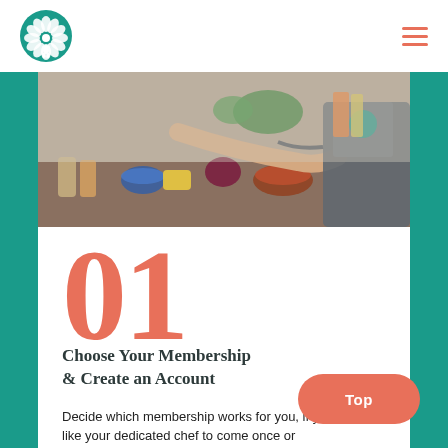Logo and navigation header with hamburger menu
[Figure (photo): Chef in gray apron working at a kitchen counter with vegetables, jars, and cooking ingredients]
01
Choose Your Membership & Create an Account
Decide which membership works for you, if you would like your dedicated chef to come once or